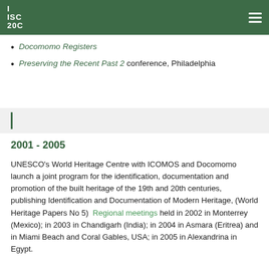ISC 20C
Docomomo Registers
Preserving the Recent Past 2 conference, Philadelphia
2001 - 2005
UNESCO's World Heritage Centre with ICOMOS and Docomomo launch a joint program for the identification, documentation and promotion of the built heritage of the 19th and 20th centuries, publishing Identification and Documentation of Modern Heritage, (World Heritage Papers No 5)  Regional meetings held in 2002 in Monterrey (Mexico); in 2003 in Chandigarh (India); in 2004 in Asmara (Eritrea) and in Miami Beach and Coral Gables, USA; in 2005 in Alexandrina in Egypt.